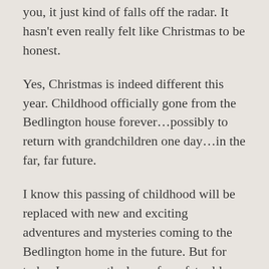you, it just kind of falls off the radar. It hasn't even really felt like Christmas to be honest.
Yes, Christmas is indeed different this year. Childhood officially gone from the Bedlington house forever…possibly to return with grandchildren one day…in the far, far future.
I know this passing of childhood will be replaced with new and exciting adventures and mysteries coming to the Bedlington home in the future. But for today I mourne the loss of my fat, old, jolly, breaking and entering, cookie loving, imaginary friend in red.
Think we can now start a new tradition where the kids leave out cheese and wine for mommy in place of...???